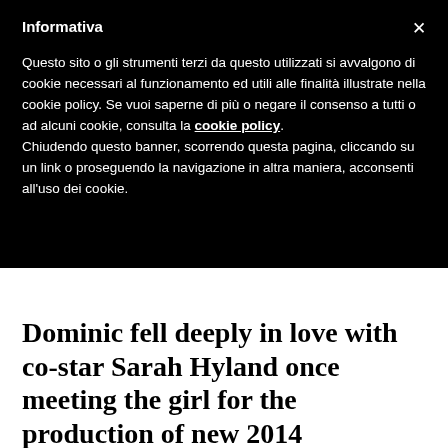Informativa
Questo sito o gli strumenti terzi da questo utilizzati si avvalgono di cookie necessari al funzionamento ed utili alle finalità illustrate nella cookie policy. Se vuoi saperne di più o negare il consenso a tutti o ad alcuni cookie, consulta la cookie policy.
Chiudendo questo banner, scorrendo questa pagina, cliccando su un link o proseguendo la navigazione in altra maniera, acconsenti all'uso dei cookie.
Dominic fell deeply in love with co-star Sarah Hyland once meeting the girl for the production of new 2014